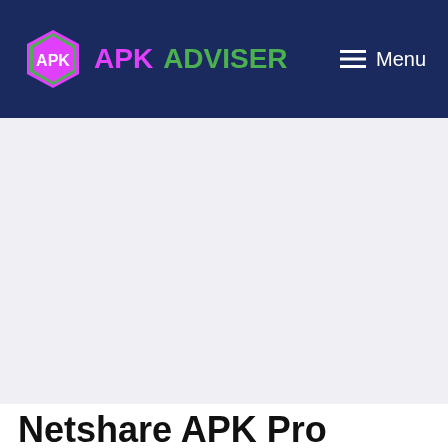APKADVISER — Menu
[Figure (other): Large grey advertisement/content placeholder area]
Netshare APK Pro